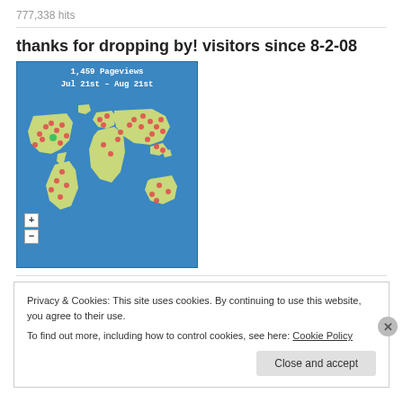777,338 hits
thanks for dropping by! visitors since 8-2-08
[Figure (map): World visitor map widget showing 1,459 Pageviews Jul 21st - Aug 21st with red dot markers across the world map on a blue background with zoom +/- controls]
Privacy & Cookies: This site uses cookies. By continuing to use this website, you agree to their use.
To find out more, including how to control cookies, see here: Cookie Policy
Close and accept